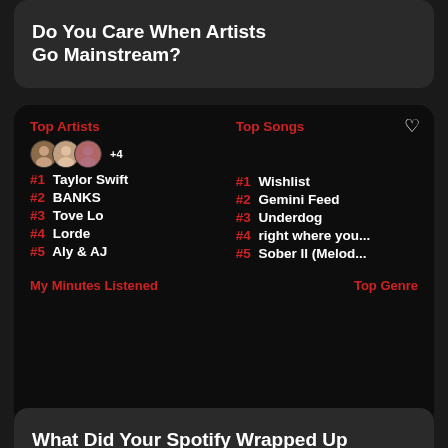Do You Care When Artists Go Mainstream?
[Figure (screenshot): Spotify Wrapped stats card showing Top Artists and Top Songs. Top Artists: #1 Taylor Swift, #2 BANKS, #3 Tove Lo, #4 Lorde, #5 Aly & AJ. Top Songs: #1 Wishlist, #2 Gemini Feed, #3 Underdog, #4 right where you..., #5 Sober II (Melod.... My Minutes Listened: 564. Top Genre: Dance pop. With commenter Dominique Davis @Dominique 9mo ago 0:31.]
What Did Your Spotify Wrapped Up Look Like?
[Figure (photo): Partial photo card at bottom with heart icon]